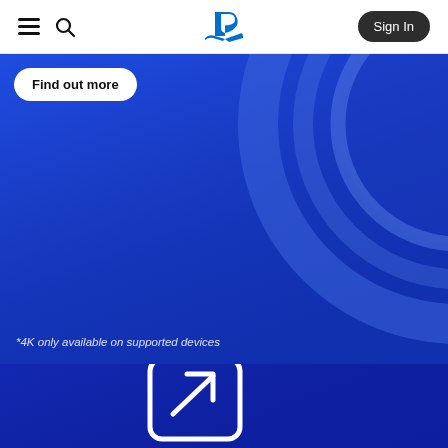PlayStation navigation bar with hamburger menu, search icon, PlayStation logo, and Sign In button
[Figure (screenshot): PlayStation website header navigation bar with hamburger menu (three lines), search magnifying glass icon, blue PlayStation logo in center, and dark rounded 'Sign In' button on the right]
Find out more
[Figure (illustration): Blue hero banner section with PlayStation branding, decorative circular arc overlay in lighter blue on the right side]
*4K only available on supported devices
[Figure (illustration): Bottom darker blue section with a white rounded square icon containing an upward-right arrow, partially visible at the bottom of the page]